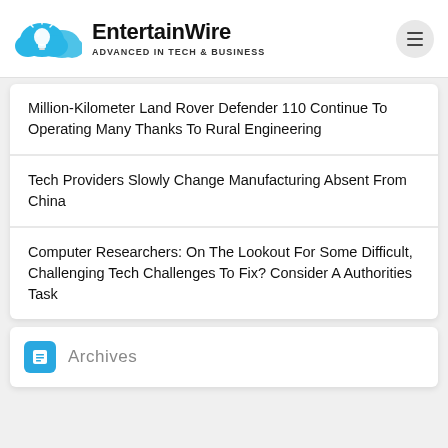EntertainWire — ADVANCED IN TECH & BUSINESS
Million-Kilometer Land Rover Defender 110 Continue To Operating Many Thanks To Rural Engineering
Tech Providers Slowly Change Manufacturing Absent From China
Computer Researchers: On The Lookout For Some Difficult, Challenging Tech Challenges To Fix? Consider A Authorities Task
Archives